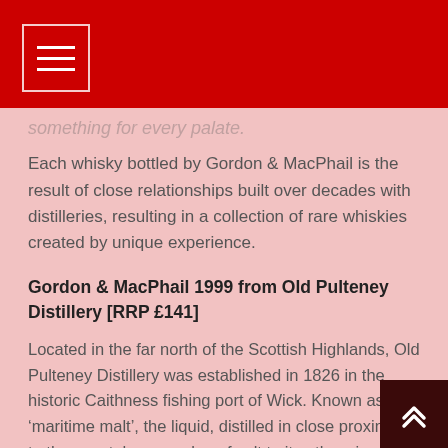[hamburger menu icon]
something for every palate.
Each whisky bottled by Gordon & MacPhail is the result of close relationships built over decades with distilleries, resulting in a collection of rare whiskies created by unique experience.
Gordon & MacPhail 1999 from Old Pulteney Distillery [RRP £141]
Located in the far north of the Scottish Highlands, Old Pulteney Distillery was established in 1826 in the historic Caithness fishing port of Wick. Known as a 'maritime malt', the liquid, distilled in close proximity to the coast, has an edge of salt to its otherwise sweet and malty style.
The Gordon & MacPhail 1999 from Old Pulteney Disti...a warm and rich 19-year-old whisky laid down on 26 October 1999 in cask no.1457, a refill Sherry butt. Spending its whole